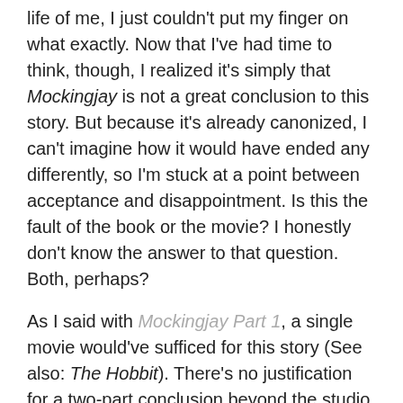life of me, I just couldn't put my finger on what exactly. Now that I've had time to think, though, I realized it's simply that Mockingjay is not a great conclusion to this story. But because it's already canonized, I can't imagine how it would have ended any differently, so I'm stuck at a point between acceptance and disappointment. Is this the fault of the book or the movie? I honestly don't know the answer to that question. Both, perhaps?
As I said with Mockingjay Part 1, a single movie would've sufficed for this story (See also: The Hobbit). There's no justification for a two-part conclusion beyond the studio seeing $$ in their eyes. We could argue that splitting the final book into two parts provided creative breathing room in order for the movie to follow the book closer. But why do that when Mockingjay is regarded as the weakest of Suzanne Collins' Hunger Games trilogy?